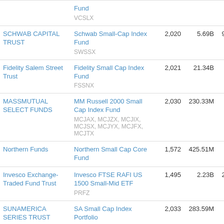| Trust | Fund | Holdings | AUM | Volume | Expense |
| --- | --- | --- | --- | --- | --- |
| [Fund] | VCSLX |  |  |  |  |
| SCHWAB CAPITAL TRUST | Schwab Small-Cap Index Fund
SWSSX | 2,020 | 5.69B | 903.53K | 0.02 |
| Fidelity Salem Street Trust | Fidelity Small Cap Index Fund
FSSNX | 2,021 | 21.34B | 3.05M | 0.02 |
| MASSMUTUAL SELECT FUNDS | MM Russell 2000 Small Cap Index Fund
MCJAX, MCJZX, MCJIX, MCJSX, MCJYX, MCJFX, MCJTX | 2,030 | 230.33M | 35.97K | 0.02 |
| Northern Funds | Northern Small Cap Core Fund | 1,572 | 425.51M | 68.1K | 0.02 |
| Invesco Exchange-Traded Fund Trust | Invesco FTSE RAFI US 1500 Small-Mid ETF
PRFZ | 1,495 | 2.23B | 281.88K | 0.02 |
| SUNAMERICA SERIES TRUST | SA Small Cap Index Portfolio | 2,033 | 283.59M | 44.33K | 0.02 |